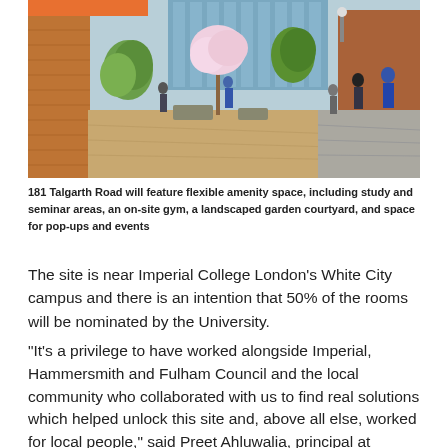[Figure (photo): Architectural rendering of 181 Talgarth Road showing a landscaped garden courtyard between brick and glass buildings, with people walking along a paved path lined with trees and planters.]
181 Talgarth Road will feature flexible amenity space, including study and seminar areas, an on-site gym, a landscaped garden courtyard, and space for pop-ups and events
The site is near Imperial College London's White City campus and there is an intention that 50% of the rooms will be nominated by the University.
“It's a privilege to have worked alongside Imperial, Hammersmith and Fulham Council and the local community who collaborated with us to find real solutions which helped unlock this site and, above all else, worked for local people,” said Preet Ahluwalia, principal at Dominvs.